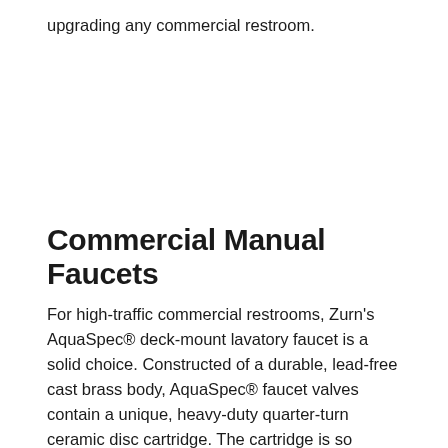upgrading any commercial restroom.
Commercial Manual Faucets
For high-traffic commercial restrooms, Zurn's AquaSpec® deck-mount lavatory faucet is a solid choice. Constructed of a durable, lead-free cast brass body, AquaSpec® faucet valves contain a unique, heavy-duty quarter-turn ceramic disc cartridge. The cartridge is so durable, you can expect it to last up to one million cycles… and it's backed by our limited lifetime warranty.